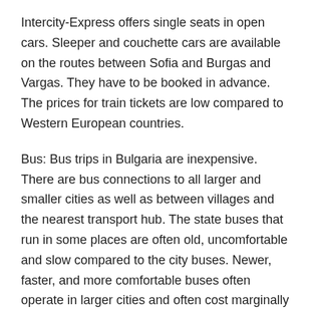Intercity-Express offers single seats in open cars. Sleeper and couchette cars are available on the routes between Sofia and Burgas and Vargas. They have to be booked in advance. The prices for train tickets are low compared to Western European countries.
Bus: Bus trips in Bulgaria are inexpensive. There are bus connections to all larger and smaller cities as well as between villages and the nearest transport hub. The state buses that run in some places are often old, uncomfortable and slow compared to the city buses. Newer, faster, and more comfortable buses often operate in larger cities and often cost marginally more to ride.
There are numerous private bus companies in Bulgaria. Etap-Grup and Biomet are among the largest. They offer their service in Sofia and most of the major cities. Bus timetables (in Cyrillic) are posted in all bus stations. Tickets are usually available at the bus stations. In some